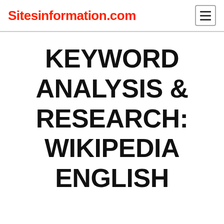Sitesinformation.com
KEYWORD ANALYSIS & RESEARCH: WIKIPEDIA ENGLISH